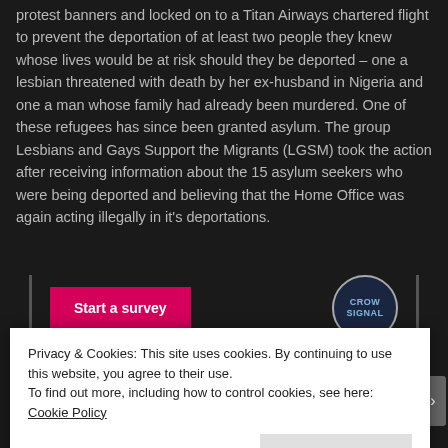protest banners and locked on to a Titan Airways chartered flight to prevent the deportation of at least two people they knew whose lives would be at risk should they be deported – one a lesbian threatened with death by her ex-husband in Nigeria and one a man whose family had already been murdered. One of these refugees has since been granted asylum. The group Lesbians and Gays Support the Migrants (LGSM) took the action after receiving information about the 15 asylum seekers who were being deported and believing that the Home Office was again acting illegally in it's deportations.
[Figure (other): A 'Start a survey' button in pink/magenta, and a CrowdSignal logo circle on the right, within a bordered bar.]
Privacy & Cookies: This site uses cookies. By continuing to use this website, you agree to their use.
To find out more, including how to control cookies, see here: Cookie Policy
Close and accept